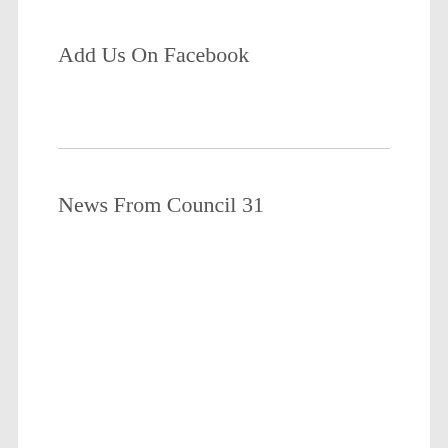Add Us On Facebook
News From Council 31